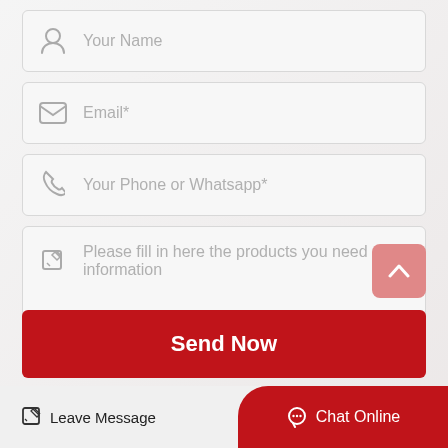[Figure (screenshot): Contact form with fields: Your Name, Email*, Your Phone or Whatsapp*, message textarea, Send Now button, Leave Message and Chat Online footer bar]
Your Name
Email*
Your Phone or Whatsapp*
Please fill in here the products you need information
Send Now
Leave Message
Chat Online